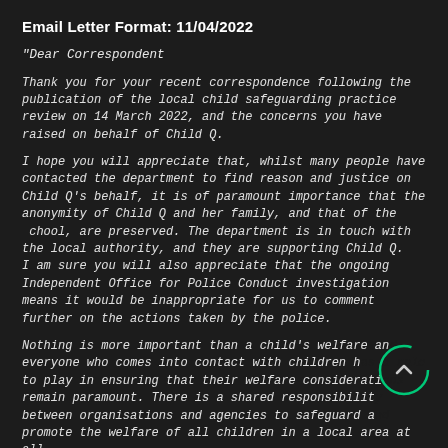Email Letter Format: 11/04/2022
"Dear Correspondent
Thank you for your recent correspondence following the publication of the local child safeguarding practice review on 14 March 2022, and the concerns you have raised on behalf of Child Q.
I hope you will appreciate that, whilst many people have contacted the department to find reason and justice on Child Q's behalf, it is of paramount importance that the anonymity of Child Q and her family, and that of the  chool, are preserved. The department is in touch with the local authority, and they are supporting Child Q. I am sure you will also appreciate that the ongoing Independent Office for Police Conduct investigation means it would be inappropriate for us to comment further on the actions taken by the police.
Nothing is more important than a child's welfare and everyone who comes into contact with children has a role to play in ensuring that their welfare considerations remain paramount. There is a shared responsibility between organisations and agencies to safeguard and promote the welfare of all children in a local area at all